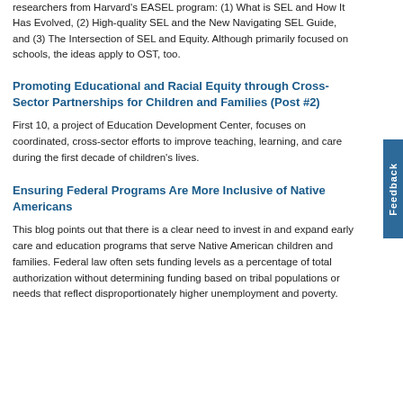researchers from Harvard's EASEL program: (1) What is SEL and How It Has Evolved, (2) High-quality SEL and the New Navigating SEL Guide, and (3) The Intersection of SEL and Equity. Although primarily focused on schools, the ideas apply to OST, too.
Promoting Educational and Racial Equity through Cross-Sector Partnerships for Children and Families (Post #2)
First 10, a project of Education Development Center, focuses on coordinated, cross-sector efforts to improve teaching, learning, and care during the first decade of children's lives.
Ensuring Federal Programs Are More Inclusive of Native Americans
This blog points out that there is a clear need to invest in and expand early care and education programs that serve Native American children and families. Federal law often sets funding levels as a percentage of total authorization without determining funding based on tribal populations or needs that reflect disproportionately higher unemployment and poverty.